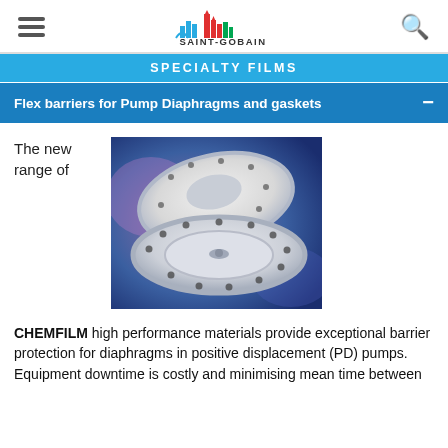SAINT-GOBAIN
SPECIALTY FILMS
Flex barriers for Pump Diaphragms and gaskets
The new range of
[Figure (photo): Two white circular pump diaphragm components on a purple/blue background. One is tilted upright showing holes around its rim, the other lies flat showing a center bolt hole and perimeter bolt holes.]
CHEMFILM high performance materials provide exceptional barrier protection for diaphragms in positive displacement (PD) pumps. Equipment downtime is costly and minimising mean time between